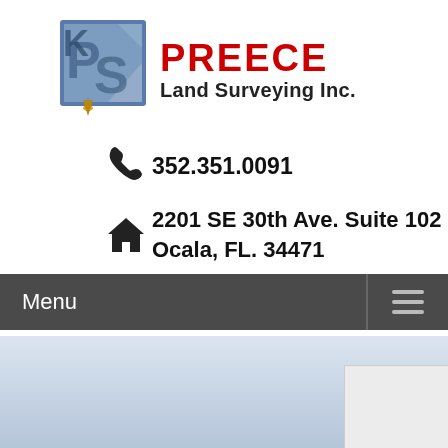[Figure (logo): Preece Land Surveying Inc. logo with stylized PS letters and a surveying plumb bob icon, with red PREECE text and black Land Surveying Inc. subtitle]
352.351.0091
2201 SE 30th Ave. Suite 102
Ocala, FL. 34471
Menu
[Figure (photo): Light blue-grey sky or landscape background image at bottom of page]